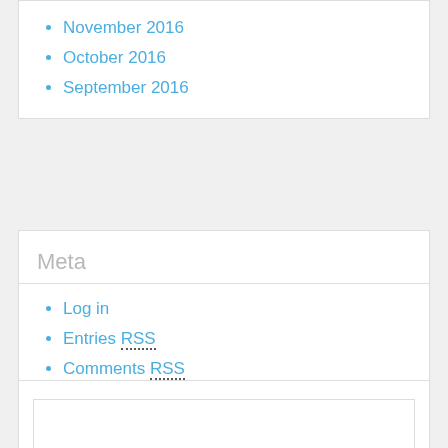November 2016
October 2016
September 2016
Meta
Log in
Entries RSS
Comments RSS
WordPress.org